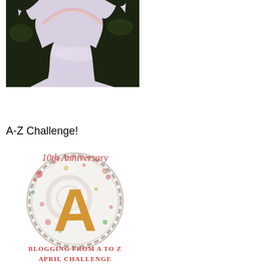[Figure (photo): Outdoor photo showing a sky with pink/purple hues, tree silhouettes (dark green/black branches) framing the top and sides, with a faint rainbow visible in the upper portion of the sky.]
A-Z Challenge!
[Figure (illustration): A-Z Challenge 10th Anniversary badge/logo. Shows a large orange letter 'A' centered in a circular gear-like emblem with watercolor paint splatter effects in red, green and gold. Text reads '10th Anniversary' in cursive script at top, and 'BLOGGING FROM A TO Z APRIL CHALLENGE' at the bottom in red serif font.]